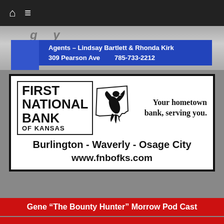Navigation bar with home and menu icons
[Figure (advertisement): Partial insurance agency ad banner: Agents – Lindsay Bartlett & Rhonda Kirk, 309 Pearson Ave, 785-733-2212, on blue background]
[Figure (advertisement): First National Bank of Kansas advertisement. Logo with bird/eagle over Kansas state outline. Tagline: Your hometown bank, serving you. Locations: Burlington - Waverly - Osage City. Website: www.fnbofks.com]
Gene "The Bounty Hunter" Morrow Pod Cast